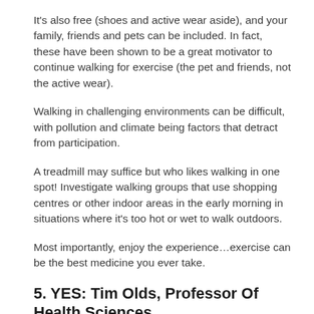It's also free (shoes and active wear aside), and your family, friends and pets can be included. In fact, these have been shown to be a great motivator to continue walking for exercise (the pet and friends, not the active wear).
Walking in challenging environments can be difficult, with pollution and climate being factors that detract from participation.
A treadmill may suffice but who likes walking in one spot! Investigate walking groups that use shopping centres or other indoor areas in the early morning in situations where it's too hot or wet to walk outdoors.
Most importantly, enjoy the experience…exercise can be the best medicine you ever take.
5. YES: Tim Olds, Professor Of Health Sciences